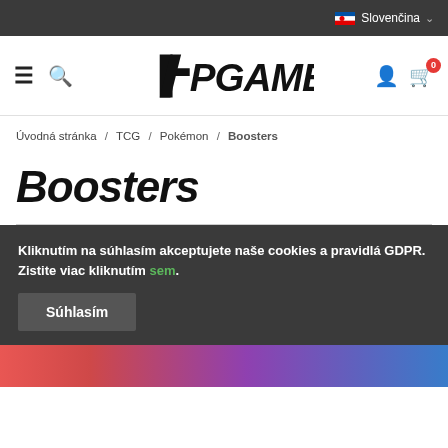Slovenčina
[Figure (logo): FPGames logo — stylized F and PGAMES text in bold italic black font]
Úvodná stránka / TCG / Pokémon / Boosters
Boosters
Kliknutím na súhlasím akceptujete naše cookies a pravidlá GDPR. Zistite viac kliknutím sem.
Súhlasím